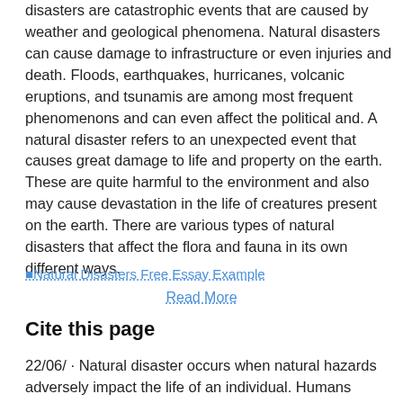disasters are catastrophic events that are caused by weather and geological phenomena. Natural disasters can cause damage to infrastructure or even injuries and death. Floods, earthquakes, hurricanes, volcanic eruptions, and tsunamis are among most frequent phenomenons and can even affect the political and. A natural disaster refers to an unexpected event that causes great damage to life and property on the earth. These are quite harmful to the environment and also may cause devastation in the life of creatures present on the earth. There are various types of natural disasters that affect the flora and fauna in its own different ways.
[Figure (other): Broken image link labeled 'Natural Disasters Free Essay Example']
Read More
Cite this page
22/06/ · Natural disaster occurs when natural hazards adversely impact the life of an individual. Humans become vulnerable due to the absence of appropriate preparedness that negatively